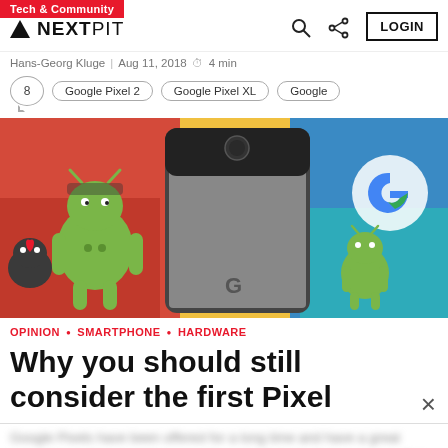Tech & Community
NEXTPIT — LOGIN
Hans-Georg Kluge | Aug 11, 2018 — 4 min
8 | Google Pixel 2 | Google Pixel XL | Google
[Figure (photo): Google Pixel smartphone surrounded by Android figurines and colorful backgrounds, with Google logo visible]
OPINION • SMARTPHONE • HARDWARE
Why you should still consider the first Pixel
Google Pixels have been offered for a long time and have a great reputation in the smartphone world, particularly for their cameras. But...